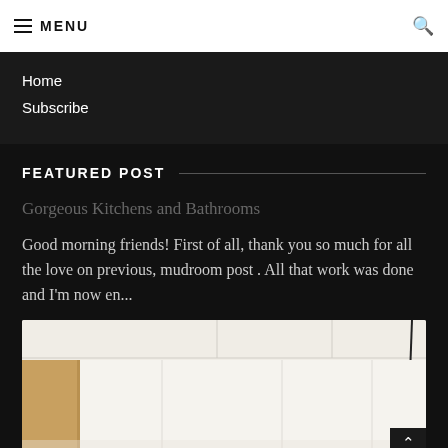≡ MENU
Home
Subscribe
FEATURED POST
Gorgeous Kitchens and Bathrooms
Good morning friends! First of all, thank you so much for all the love on previous, mudroom post . All that work was done and I'm now en...
[Figure (photo): Interior bathroom/kitchen photo showing white ceiling with a round globe light fixture, white paneled walls, and wooden elements. Scroll-to-top button in bottom right corner.]